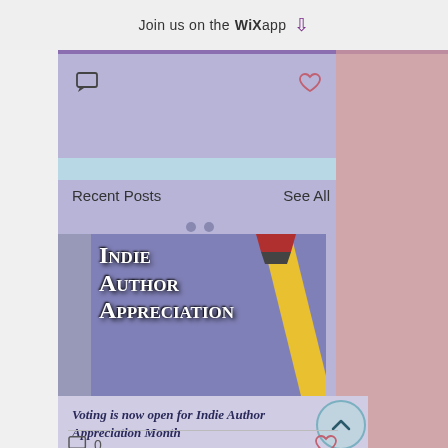Join us on the WiX app ↓
Recent Posts
See All
[Figure (illustration): Indie Author Appreciation event card thumbnail showing large bold white serif text reading 'Indie Author Appreciation' over a purple background with a yellow pencil graphic]
Voting is now open for Indie Author Appreciation Month
0